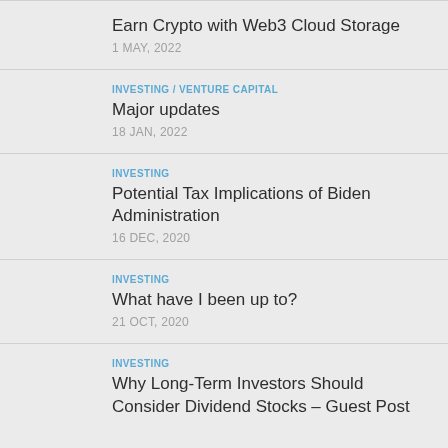Earn Crypto with Web3 Cloud Storage
1 MAY, 2022
INVESTING / VENTURE CAPITAL
Major updates
18 JAN, 2022
INVESTING
Potential Tax Implications of Biden Administration
16 DEC, 2020
INVESTING
What have I been up to?
21 OCT, 2020
INVESTING
Why Long-Term Investors Should Consider Dividend Stocks – Guest Post